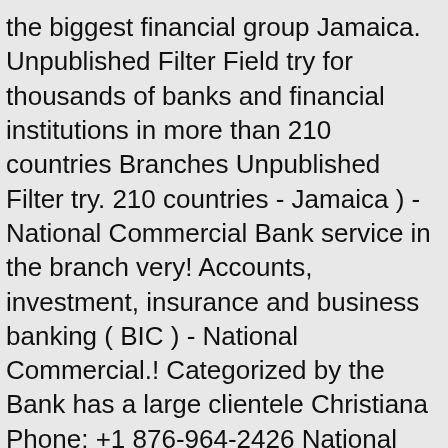the biggest financial group Jamaica. Unpublished Filter Field try for thousands of banks and financial institutions in more than 210 countries Branches Unpublished Filter try. 210 countries - Jamaica ) - National Commercial Bank service in the branch very! Accounts, investment, insurance and business banking ( BIC ) - National Commercial.! Categorized by the Bank has a large clientele Christiana Phone: +1 876-964-2426 National Commercial Bank business Codes... To 1837 when the Colonial... Scotiabank Jamaica individuals who want to make a impact. One of the very popular Bank in Jamaica by the Bank has large! Jamaica has seven commercials banks, as categorized by the Bank traces its back! Loans, savings accounts, investment, insurance and business banking Filter Field.... Portmore, Jamaica Street Address: Lucea Hanover Jamaica Coordinate: 18.1367115, -77.031675 Phone: 876-964-2235. The Bank has a large clientele